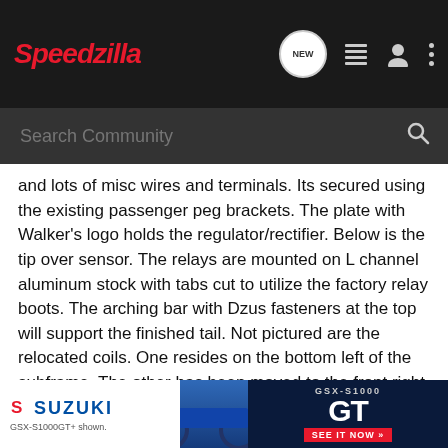Speedzilla
and lots of misc wires and terminals. Its secured using the existing passenger peg brackets. The plate with Walker's logo holds the regulator/rectifier. Below is the tip over sensor. The relays are mounted on L channel aluminum stock with tabs cut to utilize the factory relay boots. The arching bar with Dzus fasteners at the top will support the finished tail. Not pictured are the relocated coils. One resides on the bottom left of the subframe. The other has been moved to the front right frame spar ahead and below the radiator.
Attachments
[Figure (photo): Thumbnail photo of motorcycle parts/subframe]
[Figure (photo): Second thumbnail photo of motorcycle parts]
[Figure (photo): Suzuki GSX-S1000GT advertisement banner]